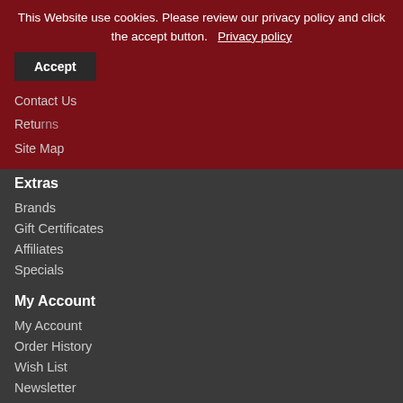This Website use cookies. Please review our privacy policy and click the accept button. Privacy policy Accept
Extras
Brands
Gift Certificates
Affiliates
Specials
My Account
My Account
Order History
Wish List
Newsletter
Unique Visitor Count: 231,565
Powered By OpenCart
The Kindle Repair Company © 2022